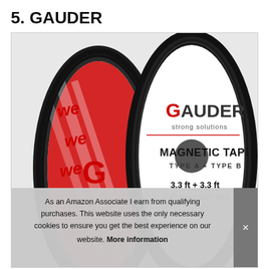5. GAUDER
[Figure (photo): Product photo of Gauder Magnetic Tape rolls (Type A + Type B), 3.3 ft + 3.3 ft, 0.6 inch wide x 1/14 inch thick, with red 3M adhesive backing visible on left roll and white label with Gauder branding on right roll.]
As an Amazon Associate I earn from qualifying purchases. This website uses the only necessary cookies to ensure you get the best experience on our website. More information